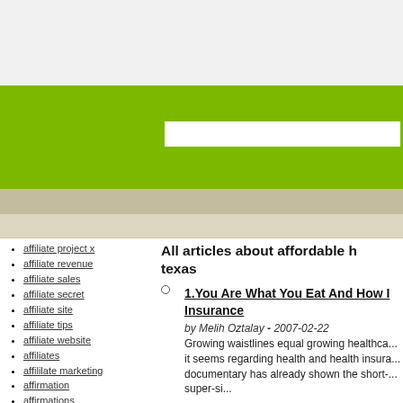[Figure (screenshot): White header area at top of webpage]
[Figure (screenshot): Green navigation/header bar with search input box]
[Figure (screenshot): Beige/tan navigation bar]
[Figure (screenshot): Light beige sub-navigation bar]
affiliate project x
affiliate revenue
affiliate sales
affiliate secret
affiliate site
affiliate tips
affiliate website
affiliates
affililate marketing
affirmation
affirmations
affliction
afford
affordable
All articles about affordable h... texas
1. You Are What You Eat And How I... Insurance by Melih Oztalay - 2007-02-22 Growing waistlines equal growing healthca... it seems regarding health and health insura... documentary has already shown the short-... super-si...